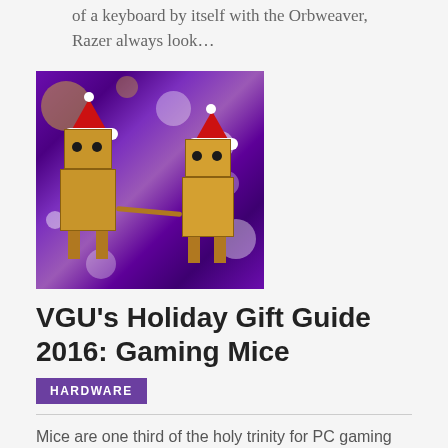of a keyboard by itself with the Orbweaver, Razer always look…
[Figure (photo): Two cardboard box robots (Danbo figures) wearing Santa hats, holding hands, against a purple bokeh background]
VGU's Holiday Gift Guide 2016: Gaming Mice
HARDWARE
Mice are one third of the holy trinity for PC gaming peripherals. Check out our gift guide below so you can pick the perfect mouse for the gamer in your house.